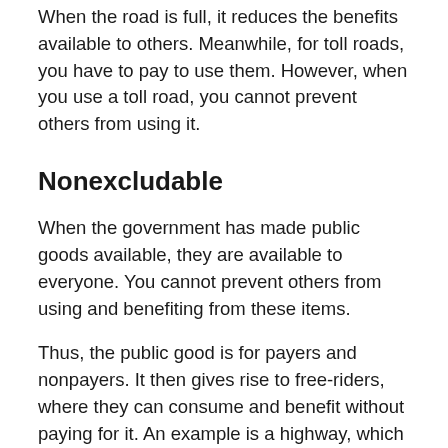When the road is full, it reduces the benefits available to others. Meanwhile, for toll roads, you have to pay to use them. However, when you use a toll road, you cannot prevent others from using it.
Nonexcludable
When the government has made public goods available, they are available to everyone. You cannot prevent others from using and benefiting from these items.
Thus, the public good is for payers and nonpayers. It then gives rise to free-riders, where they can consume and benefit without paying for it. An example is a highway, which benefits both taxpayers and non-taxpayers.